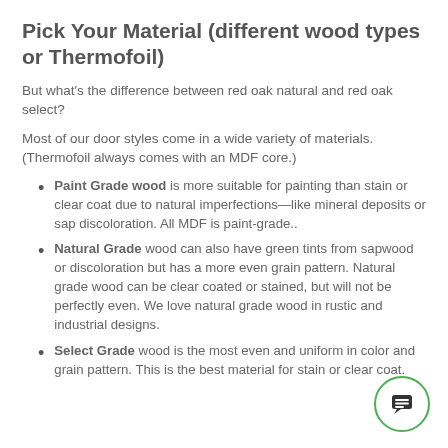Pick Your Material (different wood types or Thermofoil)
But what’s the difference between red oak natural and red oak select?
Most of our door styles come in a wide variety of materials. (Thermofoil always comes with an MDF core.)
Paint Grade wood is more suitable for painting than stain or clear coat due to natural imperfections—like mineral deposits or sap discoloration. All MDF is paint-grade..
Natural Grade wood can also have green tints from sapwood or discoloration but has a more even grain pattern. Natural grade wood can be clear coated or stained, but will not be perfectly even. We love natural grade wood in rustic and industrial designs.
Select Grade wood is the most even and uniform in color and grain pattern. This is the best material for stain or clear coat.